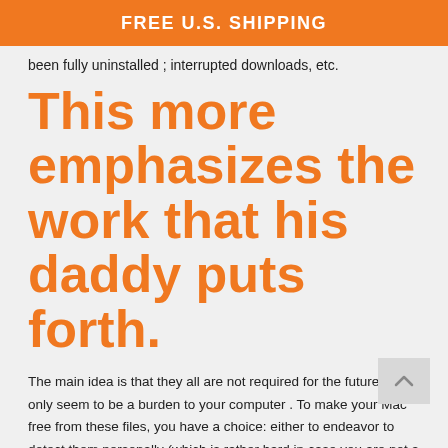FREE U.S. SHIPPING
been fully uninstalled ; interrupted downloads, etc.
This more emphasizes the work that his daddy puts forth.
The main idea is that they all are not required for the future and only seem to be a burden to your computer . To make your Mac free from these files, you have a choice: either to endeavor to detect them personally (which is rather hard in case you are not a professional ) or try to use automatic cleaners for Mac .
3. Remove copies of mail attachments .